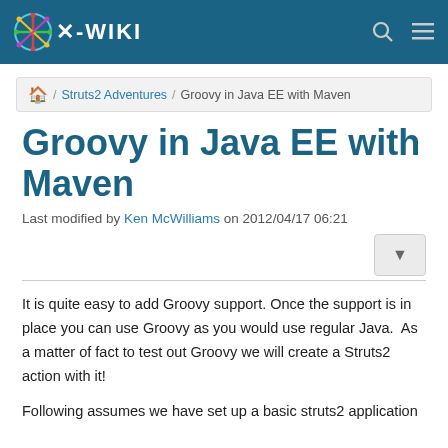X-WIKI
🏠 / Struts2 Adventures / Groovy in Java EE with Maven
Groovy in Java EE with Maven
Last modified by Ken McWilliams on 2012/04/17 06:21
It is quite easy to add Groovy support. Once the support is in place you can use Groovy as you would use regular Java.  As a matter of fact to test out Groovy we will create a Struts2 action with it!
Following assumes we have set up a basic struts2 application